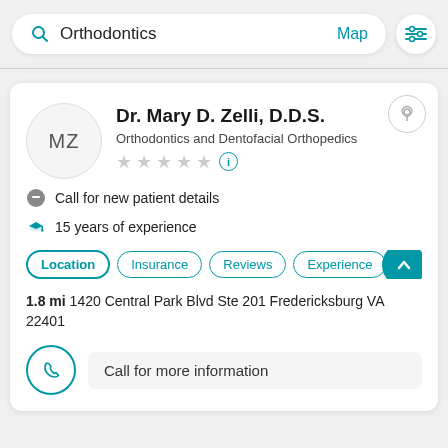Orthodontics
Map
Dr. Mary D. Zelli, D.D.S.
Orthodontics and Dentofacial Orthopedics
Call for new patient details
15 years of experience
Location
Insurance
Reviews
Experience
1.8 mi 1420 Central Park Blvd Ste 201 Fredericksburg VA 22401
Call for more information